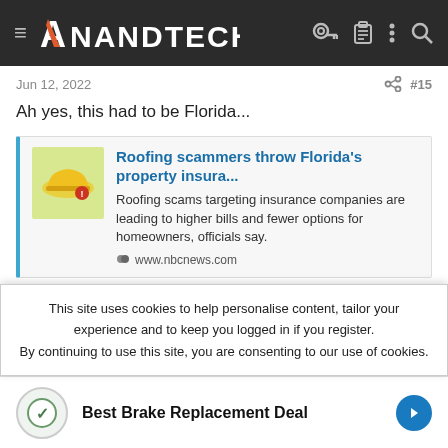AnandTech
Jun 12, 2022   #15
Ah yes, this had to be Florida...
[Figure (screenshot): Link card preview for NBC News article about roofing scammers in Florida, with thumbnail image of a hard hat, article title, description, and source URL.]
Greenman
This site uses cookies to help personalise content, tailor your experience and to keep you logged in if you register.
By continuing to use this site, you are consenting to our use of cookies.
Best Brake Replacement Deal